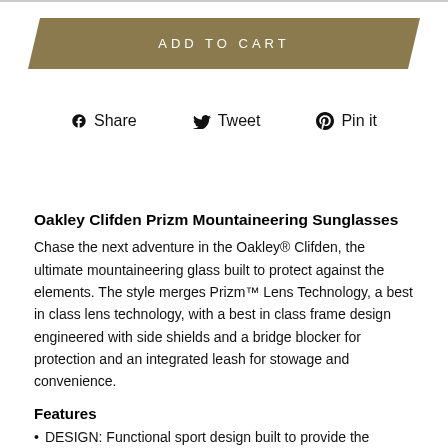ADD TO CART
Share   Tweet   Pin it
Oakley Clifden Prizm Mountaineering Sunglasses
Chase the next adventure in the Oakley® Clifden, the ultimate mountaineering glass built to protect against the elements. The style merges Prizm™ Lens Technology, a best in class lens technology, with a best in class frame design engineered with side shields and a bridge blocker for protection and an integrated leash for stowage and convenience.
Features
DESIGN: Functional sport design built to provide the ultimate in comfort and protection to enhance performance experiences in high light exposure
SEE MORE DETAILS: Available with a range of different